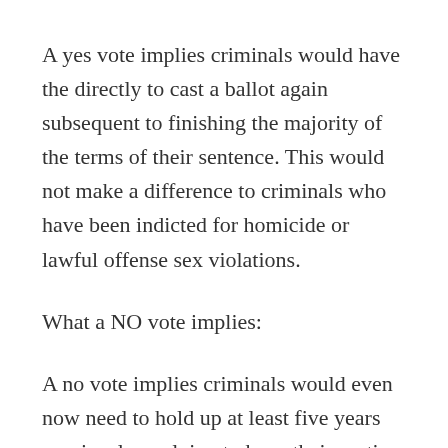A yes vote implies criminals would have the directly to cast a ballot again subsequent to finishing the majority of the terms of their sentence. This would not make a difference to criminals who have been indicted for homicide or lawful offense sex violations.
What a NO vote implies:
A no vote implies criminals would even now need to hold up at least five years previously applying to have their casting a ballot rights